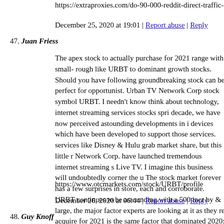https://extraproxies.com/do-90-000-reddit-direct-traffic-visitor...
December 25, 2020 at 19:01 | Report abuse | Reply
47. Juan Friess
The apex stock to actually purchase for 2021 range with small-rough like URBT to dominant growth stocks. Should you have following groundbreaking stock can be perfect for opportunist. Urban TV Network Corp stock symbol URBT. I needn't know think about technology, internet streaming services stocks spri decade, we have now perceived astounding developments in i devices which have been developed to support those services. services like Disney & Hulu grab market share, but this little r Network Corp. have launched tremendous internet streaming s Live TV. I imagine this business will undoubtedly corner the u The stock market forever has a few surprises in store, each an corroborate. URBT continues to be astounding with a 500 incr by & large, the major factor experts are looking at it as they re acquire for 2021 is the same factor that dominated 2020: COV URBTPlus is answering the call. So as an trader have a look at Corp. stock symbol "URBT". #urbtplus
https://www.otcmarkets.com/stock/URBT/profile
December 26, 2020 at 06:44 | Report abuse | Reply
48. Guy Knoff